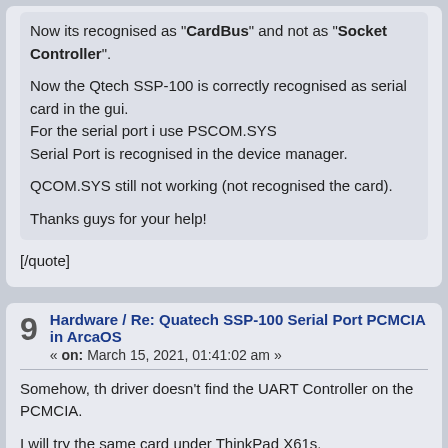Now its recognised as "CardBus" and not as "Socket Controller".
Now the Qtech SSP-100 is correctly recognised as serial card in the gui.
For the serial port i use PSCOM.SYS
Serial Port is recognised in the device manager.
QCOM.SYS still not working (not recognised the card).
Thanks guys for your help!
[/quote]
9 Hardware / Re: Quatech SSP-100 Serial Port PCMCIA in ArcaOS
« on: March 15, 2021, 01:41:02 am »
Somehow, th driver doesn't find the UART Controller on the PCMCIA.
I will try the same card under ThinkPad X61s.
X61s has the same Ricoh R5C476 II PCMCIA Controller but a way better B
Thanks